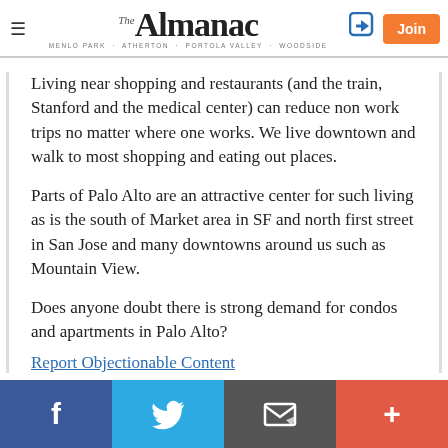The Almanac — MENLO PARK · ATHERTON · PORTOLA VALLEY · WOODSIDE
Living near shopping and restaurants (and the train, Stanford and the medical center) can reduce non work trips no matter where one works. We live downtown and walk to most shopping and eating out places.
Parts of Palo Alto are an attractive center for such living as is the south of Market area in SF and north first street in San Jose and many downtowns around us such as Mountain View.
Does anyone doubt there is strong demand for condos and apartments in Palo Alto?
Report Objectionable Content
Facebook | Twitter | Email | +